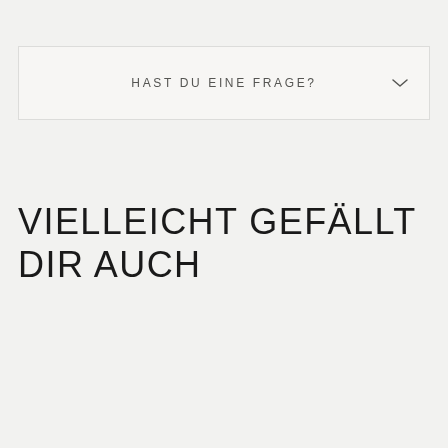HAST DU EINE FRAGE?
VIELLEICHT GEFÄLLT DIR AUCH